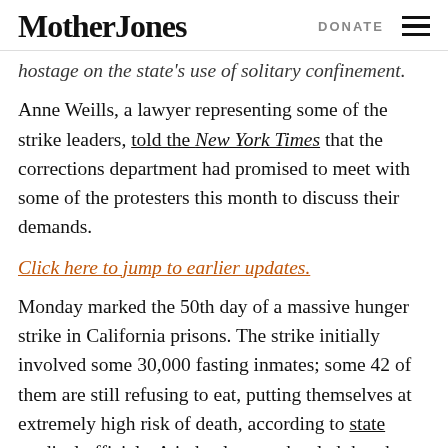Mother Jones | DONATE
hostage on the state's use of solitary confinement.
Anne Weills, a lawyer representing some of the strike leaders, told the New York Times that the corrections department had promised to meet with some of the protesters this month to discuss their demands.
Click here to jump to earlier updates.
Monday marked the 50th day of a massive hunger strike in California prisons. The strike initially involved some 30,000 fasting inmates; some 42 of them are still refusing to eat, putting themselves at extremely high risk of death, according to state medical officials. A judge last week ruled that the